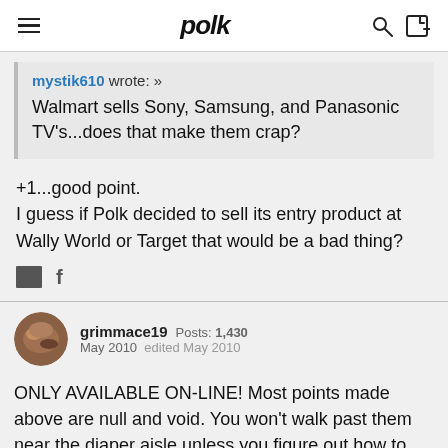polk
mystik610 wrote: »
Walmart sells Sony, Samsung, and Panasonic TV's...does that make them crap?
+1...good point.
I guess if Polk decided to sell its entry product at Wally World or Target that would be a bad thing?
grimmace19   Posts: 1,430
May 2010   edited May 2010
ONLY AVAILABLE ON-LINE! Most points made above are null and void. You won't walk past them near the diaper aisle unless you figure out how to walk around in the